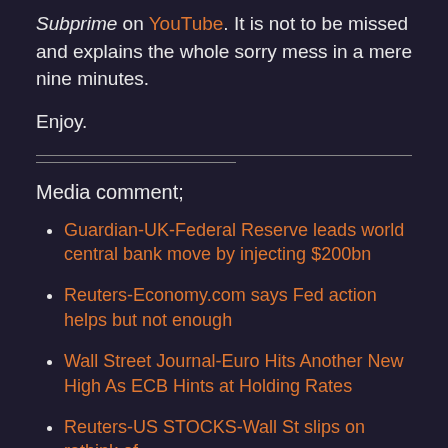Subprime on YouTube. It is not to be missed and explains the whole sorry mess in a mere nine minutes.
Enjoy.
Media comment;
Guardian-UK-Federal Reserve leads world central bank move by injecting $200bn
Reuters-Economy.com says Fed action helps but not enough
Wall Street Journal-Euro Hits Another New High As ECB Hints at Holding Rates
Reuters-US STOCKS-Wall St slips on rethink of